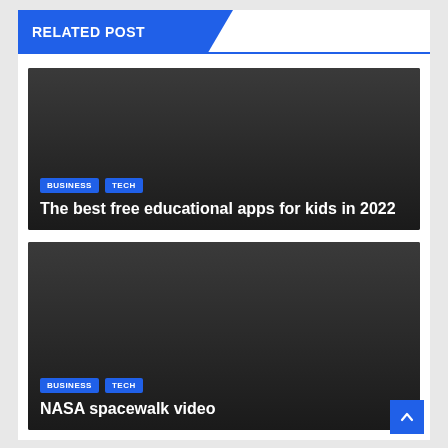RELATED POST
[Figure (screenshot): Dark image card with BUSINESS and TECH tags and article title]
The best free educational apps for kids in 2022
[Figure (screenshot): Dark image card with BUSINESS and TECH tags and article title]
NASA spacewalk video